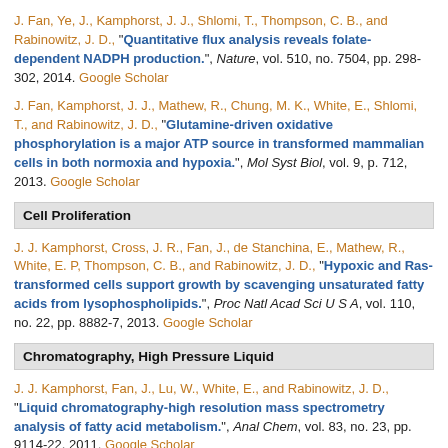J. Fan, Ye, J., Kamphorst, J. J., Shlomi, T., Thompson, C. B., and Rabinowitz, J. D., "Quantitative flux analysis reveals folate-dependent NADPH production.", Nature, vol. 510, no. 7504, pp. 298-302, 2014. Google Scholar
J. Fan, Kamphorst, J. J., Mathew, R., Chung, M. K., White, E., Shlomi, T., and Rabinowitz, J. D., "Glutamine-driven oxidative phosphorylation is a major ATP source in transformed mammalian cells in both normoxia and hypoxia.", Mol Syst Biol, vol. 9, p. 712, 2013. Google Scholar
Cell Proliferation
J. J. Kamphorst, Cross, J. R., Fan, J., de Stanchina, E., Mathew, R., White, E. P, Thompson, C. B., and Rabinowitz, J. D., "Hypoxic and Ras-transformed cells support growth by scavenging unsaturated fatty acids from lysophospholipids.", Proc Natl Acad Sci U S A, vol. 110, no. 22, pp. 8882-7, 2013. Google Scholar
Chromatography, High Pressure Liquid
J. J. Kamphorst, Fan, J., Lu, W., White, E., and Rabinowitz, J. D., "Liquid chromatography-high resolution mass spectrometry analysis of fatty acid metabolism.", Anal Chem, vol. 83, no. 23, pp. 9114-22, 2011. Google Scholar